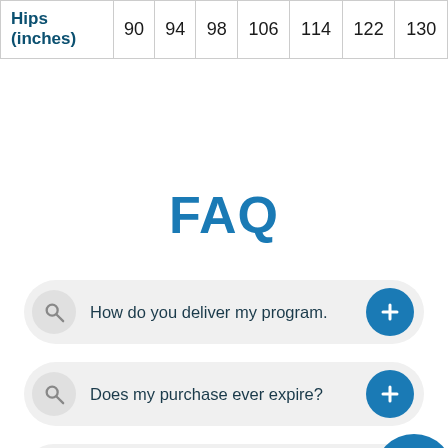| Hips (inches) | 90 | 94 | 98 | 106 | 114 | 122 | 130 |
| --- | --- | --- | --- | --- | --- | --- | --- |
FAQ
How do you deliver my program.
Does my purchase ever expire?
Is this a monthly payment?